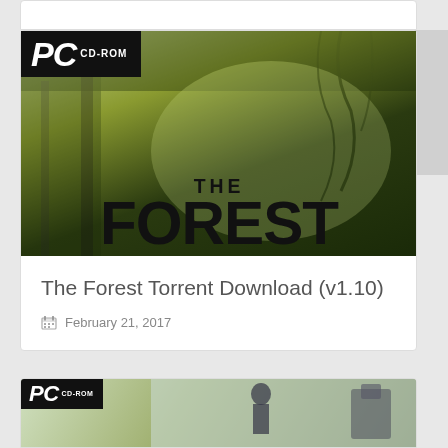10 Of The Most Noto Spies In History
[Figure (screenshot): The Forest PC CD-ROM game cover art showing 'THE FOREST' title text over a dark forest background with green lighting]
The Forest Torrent Download (v1.10)
February 21, 2017
[Figure (screenshot): Another PC CD-ROM game cover art, partially visible at bottom of page, showing a character silhouette]